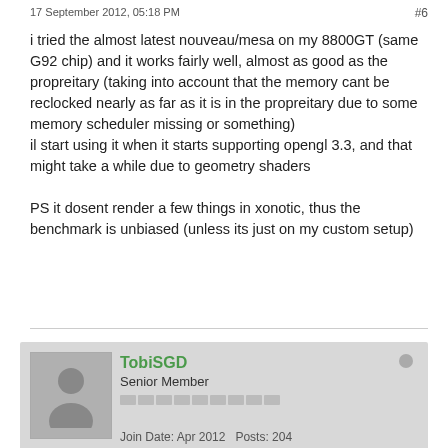17 September 2012, 05:18 PM
#6
i tried the almost latest nouveau/mesa on my 8800GT (same G92 chip) and it works fairly well, almost as good as the propreitary (taking into account that the memory cant be reclocked nearly as far as it is in the propreitary due to some memory scheduler missing or something)
il start using it when it starts supporting opengl 3.3, and that might take a while due to geometry shaders

PS it dosent render a few things in xonotic, thus the benchmark is unbiased (unless its just on my custom setup)
TobiSGD
Senior Member
Join Date: Apr 2012   Posts: 204